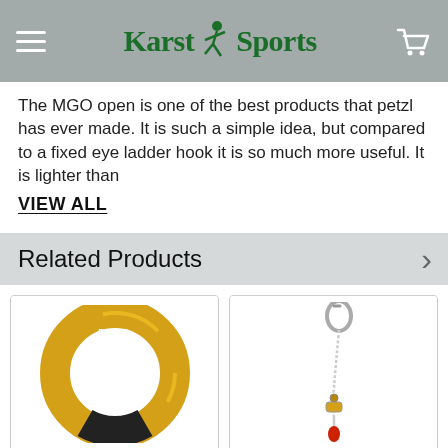Karst Sports
The MGO open is one of the best products that petzl has ever made. It is such a simple idea, but compared to a fixed eye ladder hook it is so much more useful. It is lighter than
VIEW ALL
Related Products
[Figure (photo): Gold/yellow Petzl ring device (open ring carabiner style) with black section at bottom, on white background]
[Figure (photo): Petzl climbing lanyard/sling with carabiner at top and red stopper at bottom, white rope/cable, on white background]